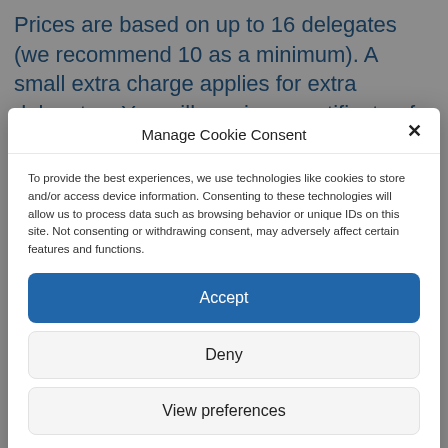Prices are based on up to 16 delegates (we recommend 10 as a minimum). A small extra charge applies for extra delegates. You will receive a certificate of attendance to
Manage Cookie Consent
To provide the best experiences, we use technologies like cookies to store and/or access device information. Consenting to these technologies will allow us to process data such as browsing behavior or unique IDs on this site. Not consenting or withdrawing consent, may adversely affect certain features and functions.
Accept
Deny
View preferences
Cookie Policy   NDNA Terms and Conditions